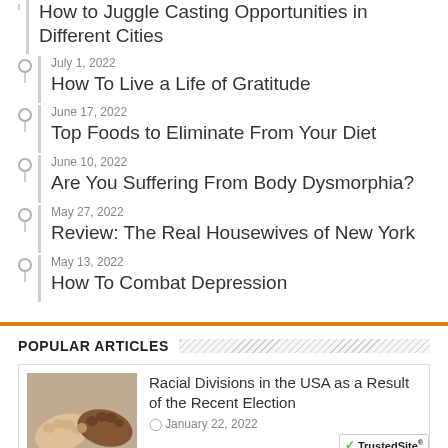How to Juggle Casting Opportunities in Different Cities
July 1, 2022 — How To Live a Life of Gratitude
June 17, 2022 — Top Foods to Eliminate From Your Diet
June 10, 2022 — Are You Suffering From Body Dysmorphia?
May 27, 2022 — Review: The Real Housewives of New York
May 13, 2022 — How To Combat Depression
POPULAR ARTICLES
Racial Divisions in the USA as a Result of the Recent Election
January 22, 2022
[Figure (photo): Two fists bumping, one lighter skin and one darker skin tone, symbolizing racial unity or division]
[Figure (logo): TrustedSite Certified Secure badge with green checkmark]